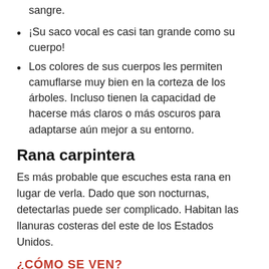sangre.
¡Su saco vocal es casi tan grande como su cuerpo!
Los colores de sus cuerpos les permiten camuflarse muy bien en la corteza de los árboles. Incluso tienen la capacidad de hacerse más claros o más oscuros para adaptarse aún mejor a su entorno.
Rana carpintera
Es más probable que escuches esta rana en lugar de verla. Dado que son nocturnas, detectarlas puede ser complicado. Habitan las llanuras costeras del este de los Estados Unidos.
¿CÓMO SE VEN?
Estas ranas son de tamaño mediano y del tamaño de una tarjeta de presentación. Pueden crecer hasta 2.5 pulgadas.